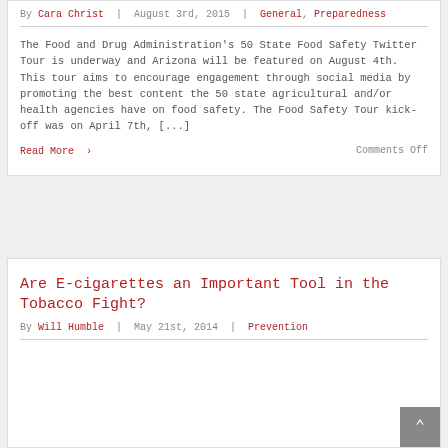By Cara Christ | August 3rd, 2015 | General, Preparedness
The Food and Drug Administration's 50 State Food Safety Twitter Tour is underway and Arizona will be featured on August 4th. This tour aims to encourage engagement through social media by promoting the best content the 50 state agricultural and/or health agencies have on food safety. The Food Safety Tour kick-off was on April 7th, [...]
Read More > Comments Off
Are E-cigarettes an Important Tool in the Tobacco Fight?
By Will Humble | May 21st, 2014 | Prevention